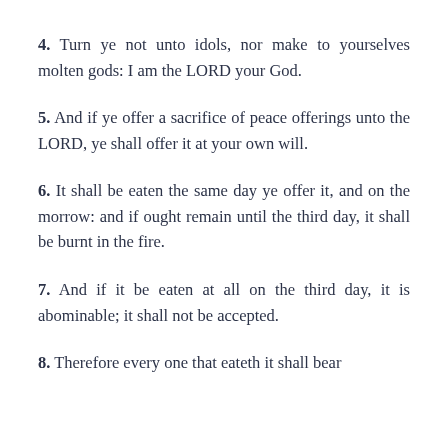4. Turn ye not unto idols, nor make to yourselves molten gods: I am the LORD your God.
5. And if ye offer a sacrifice of peace offerings unto the LORD, ye shall offer it at your own will.
6. It shall be eaten the same day ye offer it, and on the morrow: and if ought remain until the third day, it shall be burnt in the fire.
7. And if it be eaten at all on the third day, it is abominable; it shall not be accepted.
8. Therefore every one that eateth it shall bear